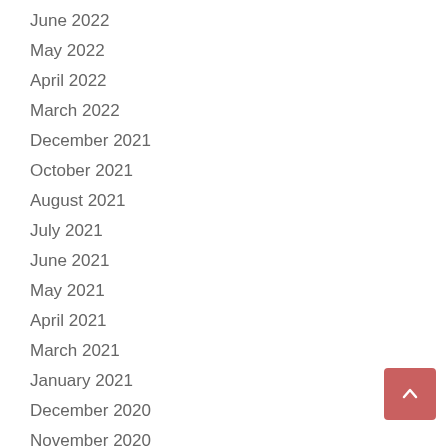June 2022
May 2022
April 2022
March 2022
December 2021
October 2021
August 2021
July 2021
June 2021
May 2021
April 2021
March 2021
January 2021
December 2020
November 2020
October 2020
September 2020
August 2020